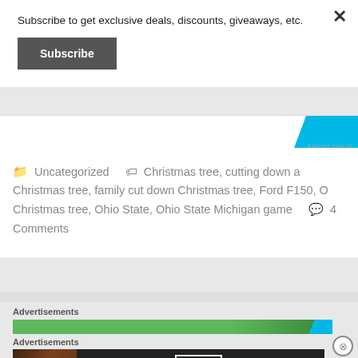Subscribe to get exclusive deals, discounts, giveaways, etc.
Subscribe
[Figure (screenshot): Partial advertisement banner with blue shape and REPORT THIS AD text]
Uncategorized   Christmas tree, cutting down a Christmas tree, family cut down Christmas tree, Ford F150, O Christmas tree, Ohio State, Ohio State Michigan game   4 Comments
Advertisements
[Figure (screenshot): Green advertisement banner with blue element and close circle button]
Advertisements
[Figure (screenshot): Seamless food ordering advertisement with pizza image, seamless logo and ORDER NOW button]